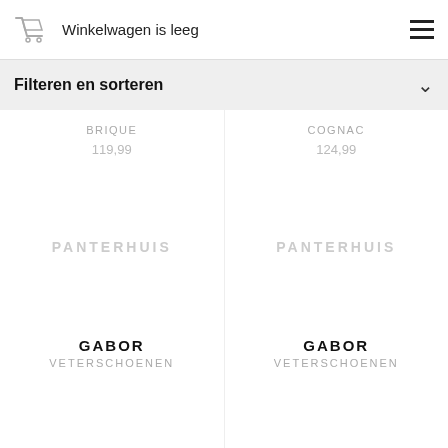Winkelwagen is leeg
Filteren en sorteren
BRIQUE
119,99
[Figure (other): PANTERHUIS watermark placeholder image for shoe product BRIQUE]
GABOR
VETERSCHOENEN
COGNAC
124,99
[Figure (other): PANTERHUIS watermark placeholder image for shoe product COGNAC]
GABOR
VETERSCHOENEN